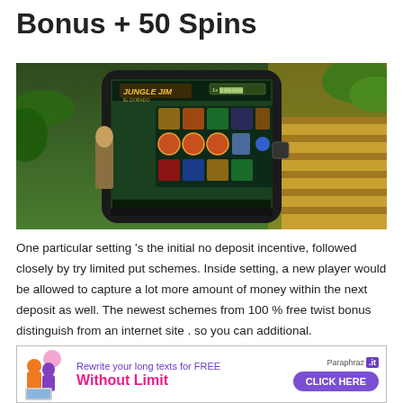Bonus + 50 Spins
[Figure (screenshot): Screenshot of a smartphone displaying the Jungle Jim El Dorado slot game, set against a jungle/temple background illustration.]
One particular setting 's the initial no deposit incentive, followed closely by try limited put schemes. Inside setting, a new player would be allowed to capture a lot more amount of money within the next deposit as well. The newest schemes from 100 % free twist bonus distinguish from an internet site . so you can additional.
[Figure (infographic): Advertisement banner: 'Rewrite your long texts for FREE Without Limit' with a CLICK HERE button, branded Paraphraz.it]